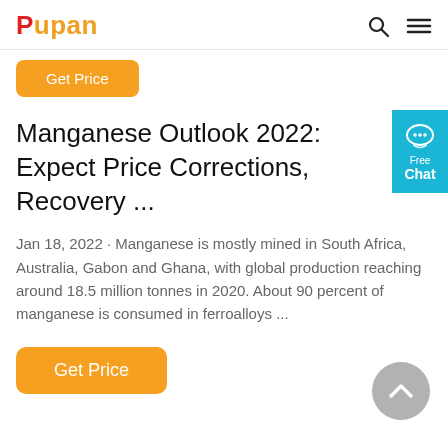Pupan
[Figure (other): Get Price button (partially visible at top)]
Manganese Outlook 2022: Expect Price Corrections, Recovery ...
Jan 18, 2022 · Manganese is mostly mined in South Africa, Australia, Gabon and Ghana, with global production reaching around 18.5 million tonnes in 2020. About 90 percent of manganese is consumed in ferroalloys ...
[Figure (other): Get Price orange button]
[Figure (other): Free Chat blue side button]
[Figure (other): Scroll to top grey circular button]